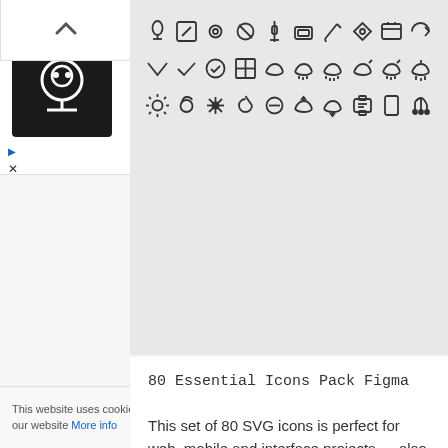[Figure (screenshot): Ad banner showing a restaurant logo (chef icon on black background), green checkmarks with 'Dine-in' and 'Curbside pickup' text, and a blue navigation/directions icon]
[Figure (illustration): Grid of 30 outline SVG icons in three rows including microphone, edit, eye, tag, calendar, cursor, checkmark, cloud, sun, moon, gift, music note and other UI icons on a grey background]
80 Essential Icons Pack Figma
This set of 80 SVG icons is perfect for web, mobile and interface projects — also you can use in your Figma ...
This website uses cookies to ensure you get the best experience on our website More info